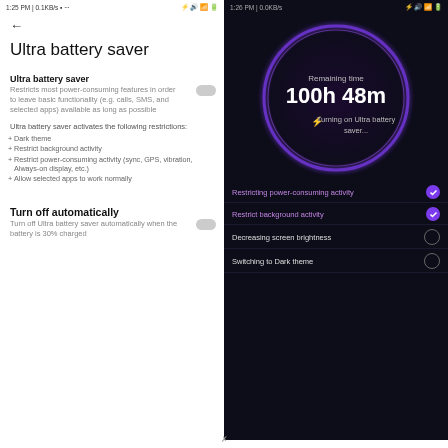[Figure (screenshot): Left: Android 'Ultra battery saver' settings screen showing toggle, description text, restrictions list, and 'Turn off automatically' section. Right: Dark themed screen showing circular battery graphic with 'Remaining time 100h 48m', 'Turning on Ultra battery saver...' and restriction checklist items.]